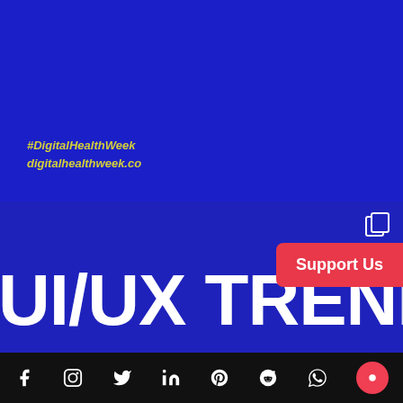[Figure (screenshot): Dark blue background image panel, top half of page, for Digital Health Week social media post]
#DigitalHealthWeek
digitalhealthweek.co
[Figure (screenshot): Blue background panel showing large white text 'UI/UX TRENDS' partially cropped, with a copy icon in top right corner]
UI/UX TRENDS
Support Us
[Figure (infographic): Black footer bar with social media icons: Facebook, Instagram, Twitter, LinkedIn, Pinterest, Reddit, WhatsApp, and a red chat bubble icon]